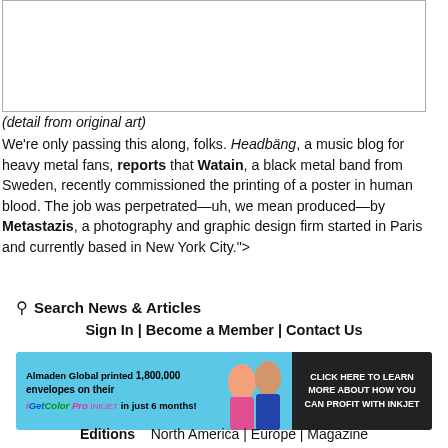[Figure (other): White rectangle representing detail from original art]
(detail from original art)
We're only passing this along, folks. Headbäng, a music blog for heavy metal fans, reports that Watain, a black metal band from Sweden, recently commissioned the printing of a poster in human blood. The job was perpetrated—uh, we mean produced—by Metastazis, a photography and graphic design firm started in Paris and currently based in New York City.">
Search News & Articles
Sign In | Become a Member | Contact Us
[Figure (photo): Advertisement banner: Almaden Global printed 1,800,000 envelopes on their iGetColor Pro inkjet in just 6 months! Click here to learn more about how you can profit with inkjet.]
Editions   North America | Europe | Magazine